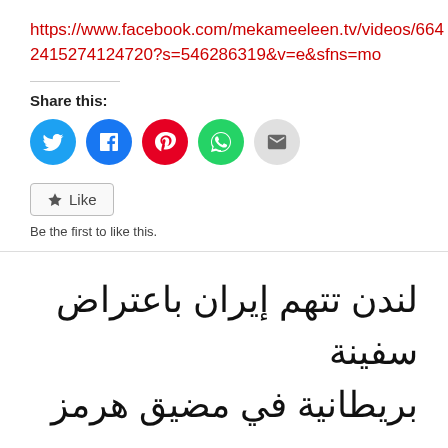https://www.facebook.com/mekameeleen.tv/videos/6642415274124720?s=546286319&v=e&sfns=mo
Share this:
[Figure (infographic): Social sharing buttons: Twitter (blue), Facebook (blue), Pinterest (red), WhatsApp (green), Email (gray)]
Like
Be the first to like this.
لندن تتهم إيران باعتراض سفينة بريطانية في مضيق هرمز